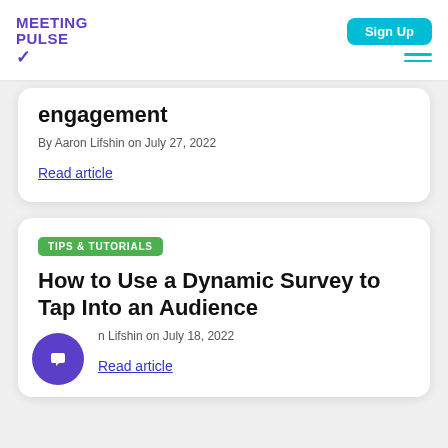MEETING PULSE
engagement
By Aaron Lifshin on July 27, 2022
Read article
TIPS & TUTORIALS
How to Use a Dynamic Survey to Tap Into an Audience
By Aaron Lifshin on July 18, 2022
Read article